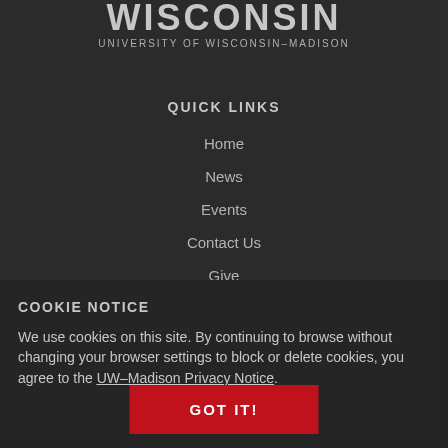WISCONSIN
UNIVERSITY OF WISCONSIN–MADISON
QUICK LINKS
Home
News
Events
Contact Us
Give
COOKIE NOTICE
We use cookies on this site. By continuing to browse without changing your browser settings to block or delete cookies, you agree to the UW–Madison Privacy Notice.
GOT IT!